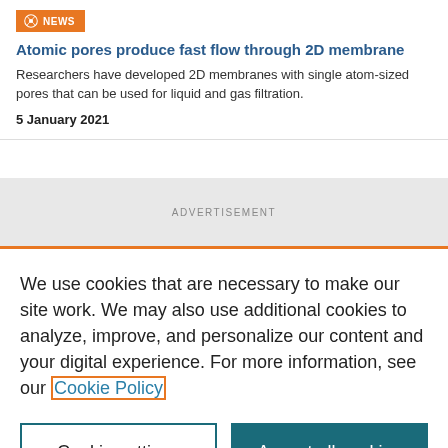NEWS
Atomic pores produce fast flow through 2D membrane
Researchers have developed 2D membranes with single atom-sized pores that can be used for liquid and gas filtration.
5 January 2021
ADVERTISEMENT
We use cookies that are necessary to make our site work. We may also use additional cookies to analyze, improve, and personalize our content and your digital experience. For more information, see our Cookie Policy
Cookie settings
Accept all cookies